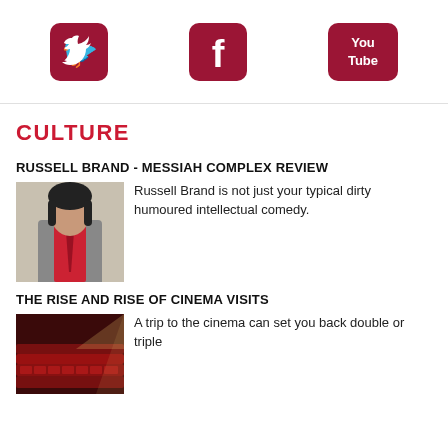[Figure (logo): Twitter bird icon in dark red/maroon on white background]
[Figure (logo): Facebook 'f' icon in dark red/maroon on white background]
[Figure (logo): YouTube logo in dark red/maroon on white background]
CULTURE
RUSSELL BRAND - MESSIAH COMPLEX REVIEW
[Figure (photo): Photo of Russell Brand in a grey suit with red shirt and tie]
Russell Brand is not just your typical dirty humoured intellectual comedy.
THE RISE AND RISE OF CINEMA VISITS
[Figure (photo): Photo of a cinema interior with red seats and projector light]
A trip to the cinema can set you back double or triple